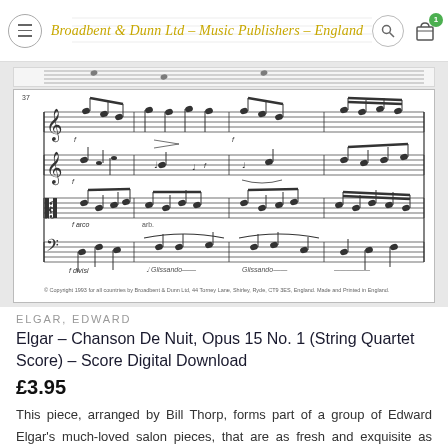Broadbent & Dunn Ltd – Music Publishers – England
[Figure (illustration): Sheet music excerpt showing several measures of a string quartet score (Elgar Chanson De Nuit), with four staves showing treble and bass clef parts, measure number 37 visible, with various notes, dynamics and articulation markings. Copyright notice at bottom: © Copyright 1993 for all countries by Broadbent & Dunn Ltd, 44 Torney Lane, Shirley, Ryde, CT9 3ES, England. Made and Printed in England.]
ELGAR, EDWARD
Elgar – Chanson De Nuit, Opus 15 No. 1 (String Quartet Score) – Score Digital Download
£3.95
This piece, arranged by Bill Thorp, forms part of a group of Edward Elgar's much-loved salon pieces, that are as fresh and exquisite as when first conceived over a century ago. Chanson de